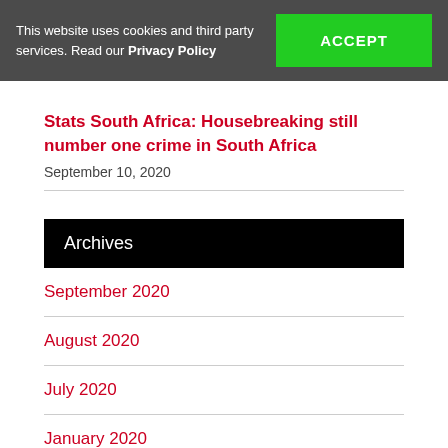This website uses cookies and third party services. Read our Privacy Policy
ACCEPT
Stats South Africa: Housebreaking still number one crime in South Africa
September 10, 2020
Archives
September 2020
August 2020
July 2020
January 2020